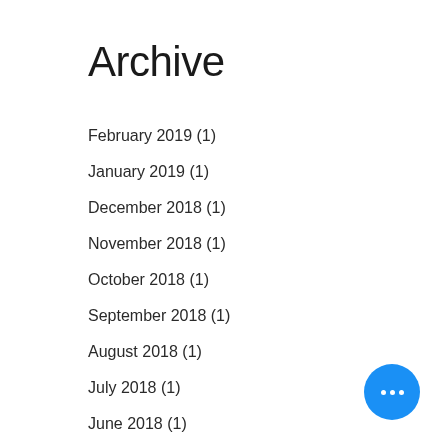Archive
February 2019 (1)
January 2019 (1)
December 2018 (1)
November 2018 (1)
October 2018 (1)
September 2018 (1)
August 2018 (1)
July 2018 (1)
June 2018 (1)
May 2018 (1)
April 2018 (1)
March 2018 (1)
February 2018 (1)
January 2018 (1)